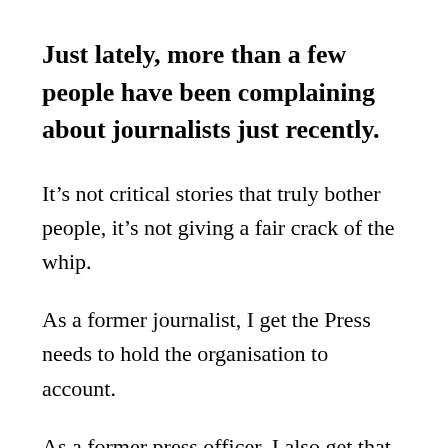Just lately, more than a few people have been complaining about journalists just recently.
It’s not critical stories that truly bother people, it’s not giving a fair crack of the whip.
As a former journalist, I get the Press needs to hold the organisation to account.
As a former press officer, I also get that that on occasion the journalist or news